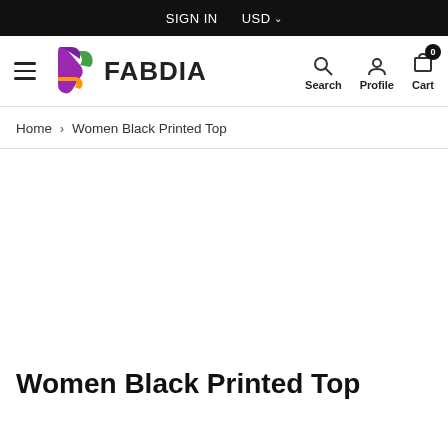SIGN IN   USD
[Figure (logo): Fabdia logo with colorful F icon and FABDIA wordmark]
Home > Women Black Printed Top
[Figure (photo): Product image area (blank/white) for Women Black Printed Top]
Women Black Printed Top